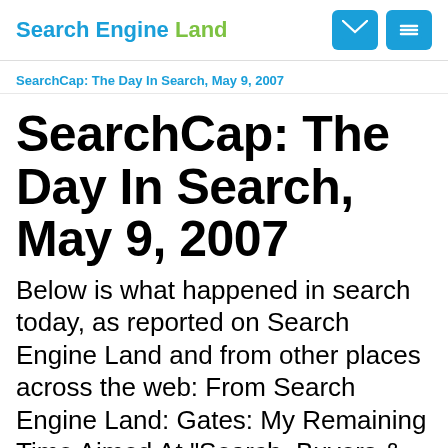Search Engine Land
SearchCap: The Day In Search, May 9, 2007
SearchCap: The Day In Search, May 9, 2007
Below is what happened in search today, as reported on Search Engine Land and from other places across the web: From Search Engine Land: Gates: My Remaining Time Aimed At "Search, Buyers & Sellers" PaidContent has a nice roundup of